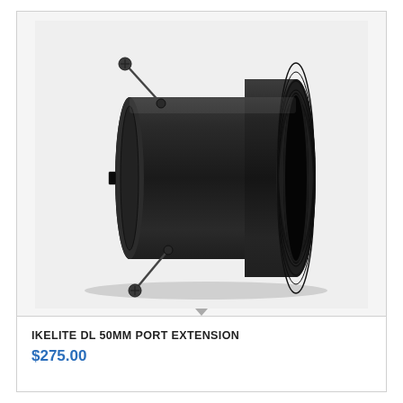[Figure (photo): Black cylindrical Ikelite DL 50mm port extension adapter, shown at an angle revealing the threaded right opening and two locking set screws on the left flange, against a light gray background.]
IKELITE DL 50MM PORT EXTENSION
$275.00